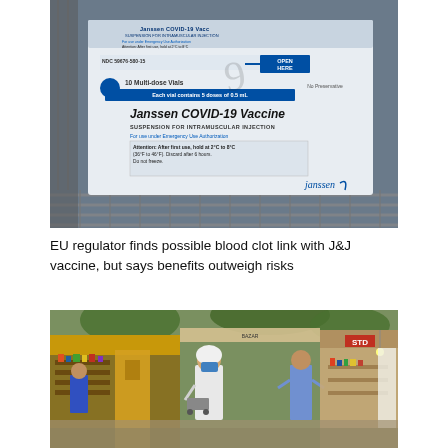[Figure (photo): Close-up photograph of a Janssen COVID-19 Vaccine box (Suspension for Intramuscular Injection) showing the label with NDC number 59676-580-15, multi-dose vials, Emergency Use Authorization text, storage instructions, and Janssen branding. The box is resting on a metal wire rack/shelf.]
EU regulator finds possible blood clot link with J&J vaccine, but says benefits outweigh risks
[Figure (photo): Street market scene in India showing vendors and pedestrians wearing masks near small shops. A person in white clothing and a face mask stands in the center foreground. Various shop stalls with goods are visible on both sides.]